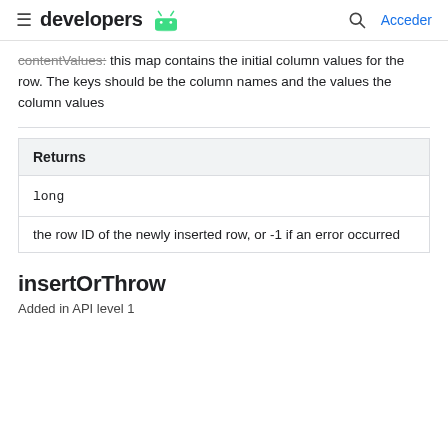developers | Acceder
contentValues: this map contains the initial column values for the row. The keys should be the column names and the values the column values
| Returns |
| --- |
| long |
| the row ID of the newly inserted row, or -1 if an error occurred |
insertOrThrow
Added in API level 1